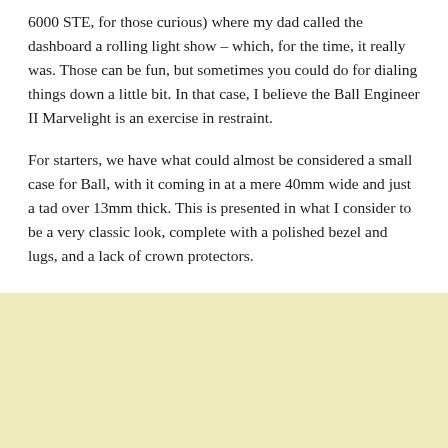6000 STE, for those curious) where my dad called the dashboard a rolling light show – which, for the time, it really was. Those can be fun, but sometimes you could do for dialing things down a little bit. In that case, I believe the Ball Engineer II Marvelight is an exercise in restraint.
For starters, we have what could almost be considered a small case for Ball, with it coming in at a mere 40mm wide and just a tad over 13mm thick. This is presented in what I consider to be a very classic look, complete with a polished bezel and lugs, and a lack of crown protectors.
[Figure (other): Light yellow/cream colored rectangular block at the bottom of the page, appearing to be a placeholder or image area.]